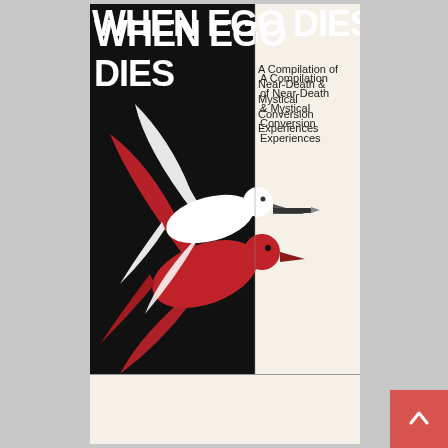[Figure (illustration): Book cover of 'When Ego Dies: A Compilation of Near-Death & Mystical Conversion Experiences'. The cover has a split design: the left two-thirds is black with the large bold white title 'WHEN EGO DIES' at the top, and a dramatic illustration of two intertwined doves — one red and one white — in flight. The right portion is cream/off-white with the subtitle text 'A Compilation of Near-Death & Mystical Conversion Experiences'. At the bottom is a white banner reading 'Foreword by Diana K. Corcoran, RN, Ph.D.' A red scroll-to-top button appears in the bottom-right corner of the webpage.]
WHEN EGO DIES
A Compilation of Near-Death & Mystical Conversion Experiences
Foreword by Diana K. Corcoran, RN, Ph.D.